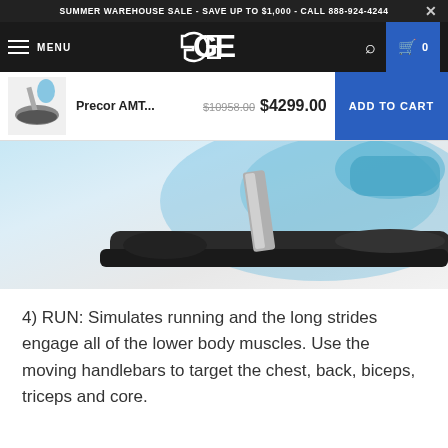SUMMER WAREHOUSE SALE - SAVE UP TO $1,000 - CALL 888-924-4244
[Figure (screenshot): Navigation bar with hamburger menu, MENU text, GE logo, search icon, and cart icon showing 0 items]
[Figure (screenshot): Sticky product bar showing Precor AMT thumbnail image, product name 'Precor AMT...', crossed-out price $10958.00, sale price $4299.00, and ADD TO CART button]
[Figure (photo): Precor AMT exercise machine base and lower frame, showing the foot pedal area, support column, and platform against a light blue gradient background]
4) RUN: Simulates running and the long strides engage all of the lower body muscles. Use the moving handlebars to target the chest, back, biceps, triceps and core.